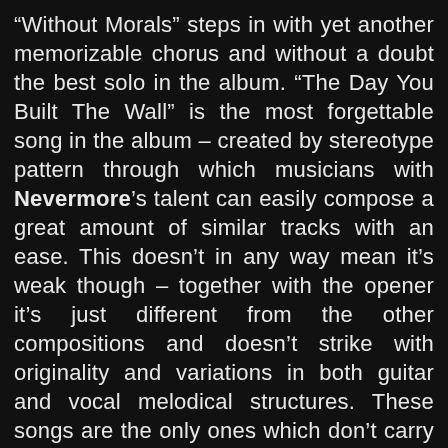“Without Morals” steps in with yet another memorizable chorus and without a doubt the best solo in the album. “The Day You Built The Wall” is the most forgettable song in the album – created by stereotype pattern through which musicians with Nevermore’s talent can easily compose a great amount of similar tracks with an ease. This doesn’t in any way mean it’s weak though – together with the opener it’s just different from the other compositions and doesn’t strike with originality and variations in both guitar and vocal melodical structures. These songs are the only ones which don’t carry the potential energetic charge of the others in order to impress with new sensations during every next listening. The album ends with the splendid “She Comes In Colors”